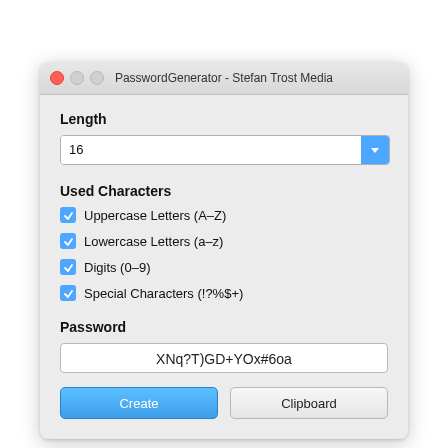[Figure (screenshot): macOS application window titled 'PasswordGenerator - Stefan Trost Media' showing a password generator UI with a Length dropdown set to 16, checkboxes for Uppercase Letters (A-Z), Lowercase Letters (a-z), Digits (0-9), Special Characters (!?%$+) all checked, a Password field showing 'XNq?T)GD+YOx#6oa', and Create and Clipboard buttons.]